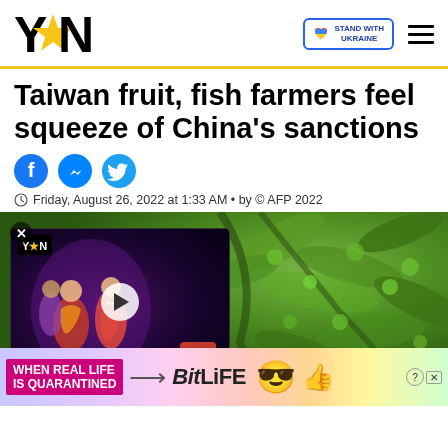YEN — STAND WITH UKRAINE
Taiwan fruit, fish farmers feel squeeze of China's sanctions
Friday, August 26, 2022 at 1:33 AM • by © AFP 2022
[Figure (photo): Background photo of green fruit trees with overlaid video panel showing dancers, YEN logo, and text WILD DANCE MOVES AT KENTE PARTY 2019. Below is an advertisement for BitLife game.]